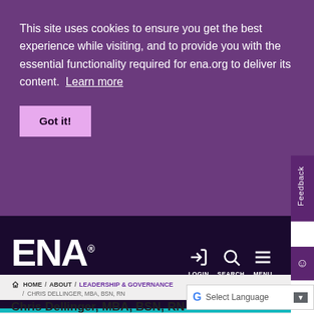This site uses cookies to ensure you get the best experience while visiting, and to provide you with the essential functionality required for ena.org to deliver its content.  Learn more
Got it!
[Figure (logo): ENA Emergency Nurses Association logo with navigation icons LOGIN, SEARCH, MENU]
HOME / ABOUT / LEADERSHIP & GOVERNANCE / CHRIS DELLINGER, MBA, BSN, RN
Chris Dellinger, MBA, BSN, RN
Select Language